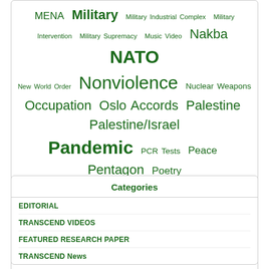MENA Military Military Industrial Complex Military Intervention Military Supremacy Music Video Nakba NATO New World Order Nonviolence Nuclear Weapons Occupation Oslo Accords Palestine Palestine/Israel Pandemic PCR Tests Peace Pentagon Poetry Politics Power Predatory Capitalism Profits Public Health Racism Religion Research Russia Sanctions Science Science and Medicine Settlers Social justice Solutions State Terrorism Structural violence Super rich Surveillance Sweden Terrorism Torture Trump UK Ukraine UN United Nations USA US Military Vaccines Violence Violent conflict War Warfare War on Terror West West Bank Whistleblowing WHO WikiLeaks World Zionism
Categories
EDITORIAL
TRANSCEND VIDEOS
FEATURED RESEARCH PAPER
TRANSCEND News